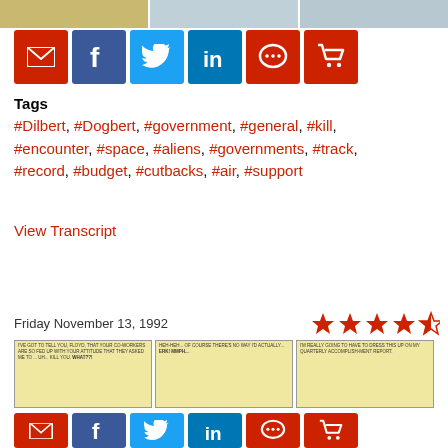[Figure (illustration): Top row of three Dilbert comic strip panels, partially visible]
[Figure (illustration): Social share buttons: email, Facebook, Twitter, LinkedIn, comment, cart]
Tags
#Dilbert, #Dogbert, #government, #general, #kill, #encounter, #space, #aliens, #governments, #track, #record, #budget, #cutbacks, #air, #support
View Transcript
Friday November 13, 1992
[Figure (illustration): Four and a half red stars rating]
[Figure (illustration): Three Dilbert comic strip panels: panel 1 - Dilbert told co-workers are fed up and asked to kill Floyd, panel 2 - Heh-heh of course there's no way I'd actually... ERK! MMPH..., panel 3 - I'm really going to have to dress this up on my quarterly accomplishment report]
[Figure (illustration): Bottom social share buttons row: email, Facebook, Twitter, LinkedIn, comment, cart]